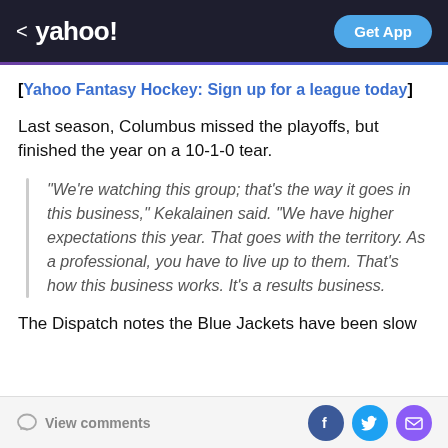yahoo! — Get App
[Yahoo Fantasy Hockey: Sign up for a league today]
Last season, Columbus missed the playoffs, but finished the year on a 10-1-0 tear.
"We're watching this group; that's the way it goes in this business," Kekalainen said. "We have higher expectations this year. That goes with the territory. As a professional, you have to live up to them. That's how this business works. It's a results business.
The Dispatch notes the Blue Jackets have been slow
View comments